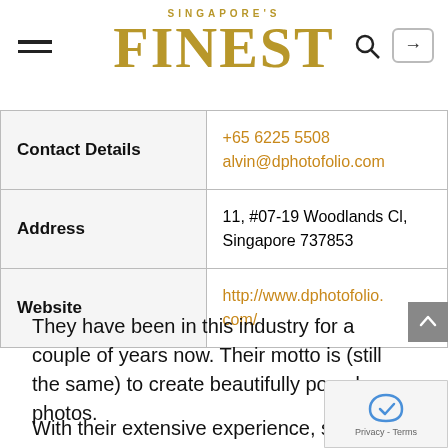SINGAPORE'S FINEST
|  |  |
| --- | --- |
| Contact Details | +65 6225 5508
alvin@dphotofolio.com |
| Address | 11, #07-19 Woodlands Cl, Singapore 737853 |
| Website | http://www.dphotofolio.com/ |
They have been in this industry for a couple of years now. Their motto is (still the same) to create beautifully posed photos.
With their extensive experience, state-of-the-art equipment, technique and talent, they will be able